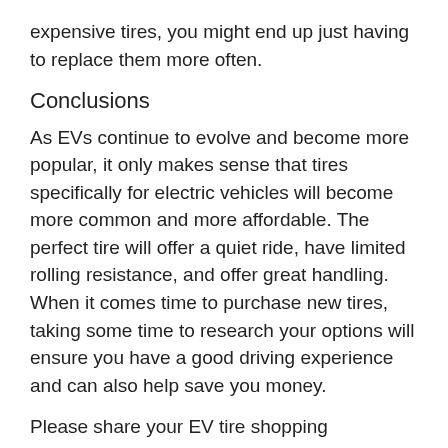expensive tires, you might end up just having to replace them more often.
Conclusions
As EVs continue to evolve and become more popular, it only makes sense that tires specifically for electric vehicles will become more common and more affordable. The perfect tire will offer a quiet ride, have limited rolling resistance, and offer great handling. When it comes time to purchase new tires, taking some time to research your options will ensure you have a good driving experience and can also help save you money.
Please share your EV tire shopping experiences in the comment section below.